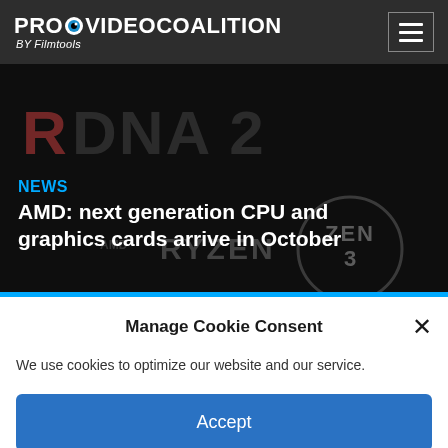PROVIDEO COALITION BY Filmtools
[Figure (screenshot): Hero image with AMD RDNA 2 and Ryzen Zen 3 branding on dark background]
NEWS
AMD: next generation CPU and graphics cards arrive in October
Manage Cookie Consent
We use cookies to optimize our website and our service.
Accept